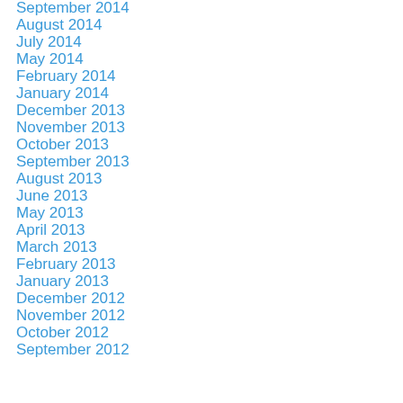September 2014
August 2014
July 2014
May 2014
February 2014
January 2014
December 2013
November 2013
October 2013
September 2013
August 2013
June 2013
May 2013
April 2013
March 2013
February 2013
January 2013
December 2012
November 2012
October 2012
September 2012